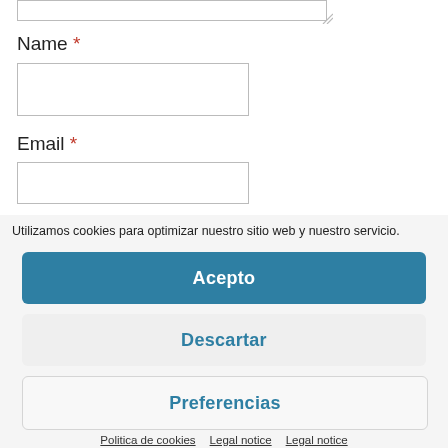Name *
Email *
Utilizamos cookies para optimizar nuestro sitio web y nuestro servicio.
Acepto
Descartar
Preferencias
Politica de cookies   Legal notice   Legal notice